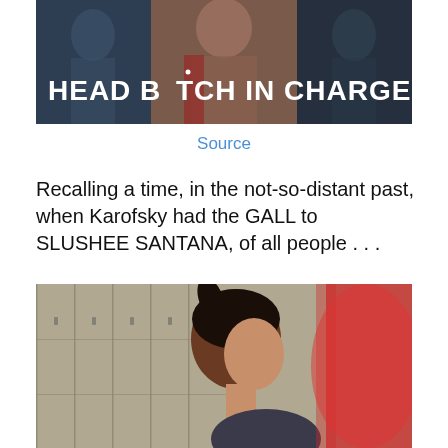[Figure (photo): TV show promotional image with text overlay 'HEAD BITCH IN CHARGE' showing three people - two males and a female in the center]
Source
Recalling a time, in the not-so-distant past, when Karofsky had the GALL to SLUSHEE SANTANA, of all people . . .
[Figure (photo): Side profile of a person with dark hair in a ponytail, standing in front of lockers, with a red slushee visible]